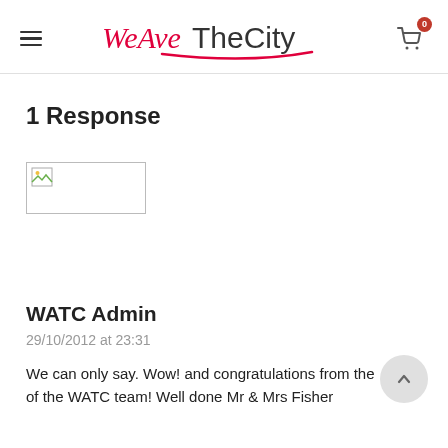WeAreTheCity — navigation header with hamburger menu and cart icon showing 0 items
1 Response
[Figure (photo): Broken/placeholder image thumbnail, small rectangle with image icon in top-left corner]
WATC Admin
29/10/2012 at 23:31
We can only say. Wow! and congratulations from the of the WATC team! Well done Mr & Mrs Fisher